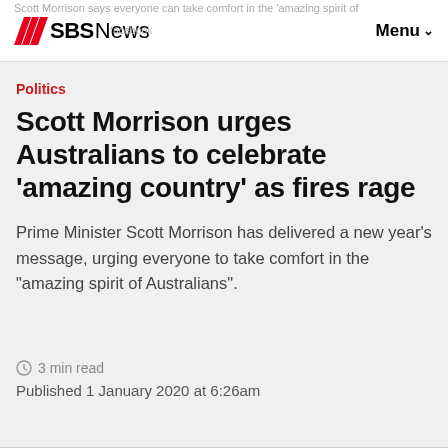SBS News | Menu
Scott Morrison says everyone can take comfort in the 'amazing spirit of ... facebook
Politics
Scott Morrison urges Australians to celebrate 'amazing country' as fires rage
Prime Minister Scott Morrison has delivered a new year's message, urging everyone to take comfort in the "amazing spirit of Australians".
3 min read
Published 1 January 2020 at 6:26am